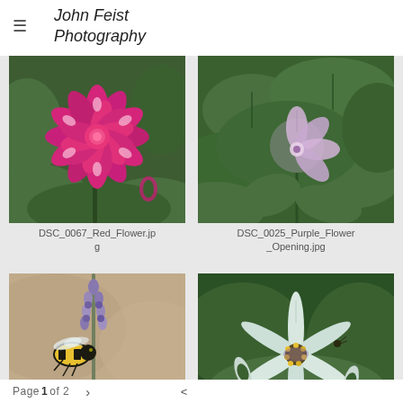John Feist Photography
[Figure (photo): Pink dahlia flower close-up with green foliage background]
DSC_0067_Red_Flower.jpg
[Figure (photo): Light purple/pink flower opening among green leaves]
DSC_0025_Purple_Flower_Opening.jpg
[Figure (photo): Bumblebee on lavender flower spike with blurred background]
[Figure (photo): White star-shaped flower with yellow stamens and green leaves]
Page 1 of 2